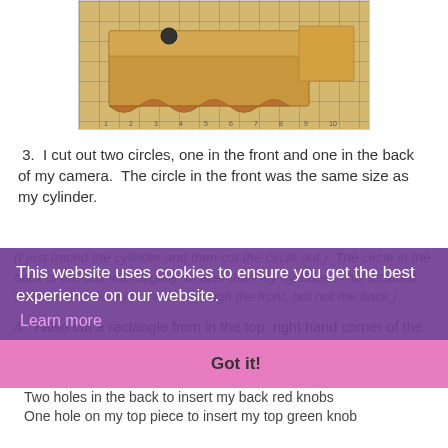[Figure (photo): A cardboard camera box on a cutting mat with grid measurements visible, showing a flat cardboard piece with scalloped edges]
3.  I cut out two circles, one in the front and one in the back of my camera.  The circle in the front was the same size as my cylinder.
(I just traced the cylinder and then cut the circle out.)  The circle in the back of the box was slightly smaller than my cylinder.  This assured that the lens would poke out through the front, but not the back.)
4.  I also cut a rectangle from in the top, right hand corner of the front of my camera.  This became my "flash."
5.  Hubby drilled five holes in my cardboard:
Two holes in the back to insert my back red knobs
One hole on my top piece to insert my top green knob